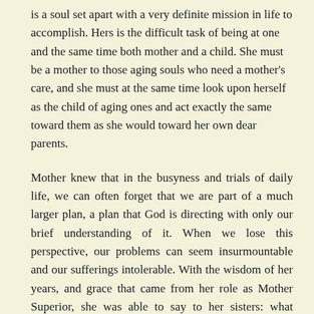is a soul set apart with a very definite mission in life to accomplish. Hers is the difficult task of being at one and the same time both mother and a child. She must be a mother to those aging souls who need a mother's care, and she must at the same time look upon herself as the child of aging ones and act exactly the same toward them as she would toward her own dear parents.
Mother knew that in the busyness and trials of daily life, we can often forget that we are part of a much larger plan, a plan that God is directing with only our brief understanding of it. When we lose this perspective, our problems can seem insurmountable and our sufferings intolerable. With the wisdom of her years, and grace that came from her role as Mother Superior, she was able to say to her sisters: what matter the little aches and pains we must all